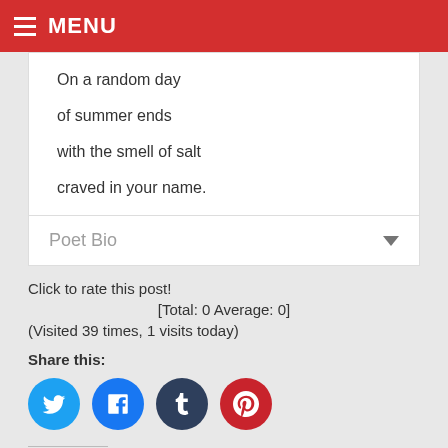MENU
On a random day
of summer ends
with the smell of salt
craved in your name.
Poet Bio
Click to rate this post!
[Total: 0 Average: 0]
(Visited 39 times, 1 visits today)
Share this:
Like this:
Loading